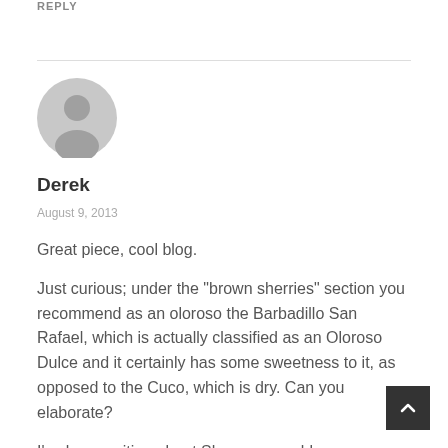REPLY
[Figure (illustration): Gray circular avatar icon with a silhouette of a person (head and shoulders)]
Derek
August 9, 2013
Great piece, cool blog.
Just curious; under the "brown sherries" section you recommend as an oloroso the Barbadillo San Rafael, which is actually classified as an Oloroso Dulce and it certainly has some sweetness to it, as opposed to the Cuco, which is dry. Can you elaborate?
I've been writing about Sherry on my blog.